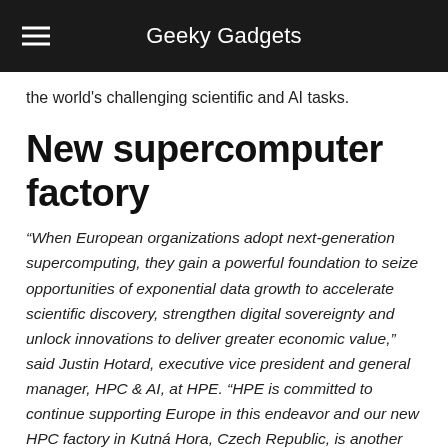Geeky Gadgets
the world's challenging scientific and AI tasks.
New supercomputer factory
“When European organizations adopt next-generation supercomputing, they gain a powerful foundation to seize opportunities of exponential data growth to accelerate scientific discovery, strengthen digital sovereignty and unlock innovations to deliver greater economic value,” said Justin Hotard, executive vice president and general manager, HPC & AI, at HPE. “HPE is committed to continue supporting Europe in this endeavor and our new HPC factory in Kutná Hora, Czech Republic, is another significant investment, among our other R&D initiatives, that we have made in Europe. We are now able to manufacture the industry’s leading supercomputing, HPC, and AI systems, while increasing supply chain viability and resiliency.”